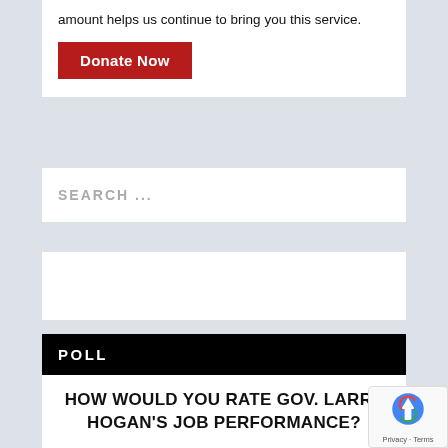amount helps us continue to bring you this service.
[Figure (other): Red 'Donate Now' button]
SEARCH ...
[Figure (other): Empty white content card/widget area]
POLL
HOW WOULD YOU RATE GOV. LARRY HOGAN'S JOB PERFORMANCE?
Excellent